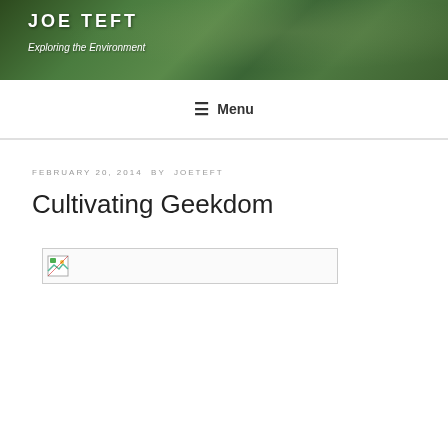JOE TEFT
Exploring the Environment
☰ Menu
FEBRUARY 20, 2014 BY JOETEFT
Cultivating Geekdom
[Figure (other): Broken/unloaded image placeholder with small icon]